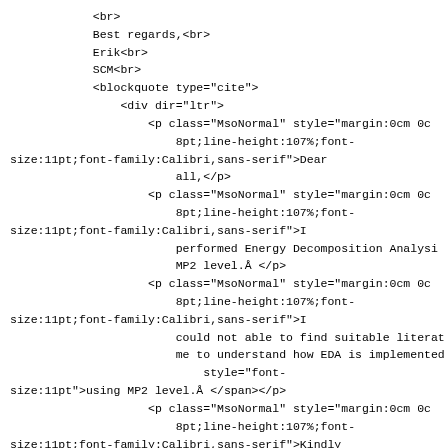<br>
            Best regards,<br>
            Erik<br>
            SCM<br>
            <blockquote type="cite">
                <div dir="ltr">
                    <p class="MsoNormal" style="margin:0cm 0c
                        8pt;line-height:107%;font-
size:11pt;font-family:Calibri,sans-serif">Dear
                        all,</p>
                    <p class="MsoNormal" style="margin:0cm 0c
                        8pt;line-height:107%;font-
size:11pt;font-family:Calibri,sans-serif">I
                        performed Energy Decomposition Analysis
                        MP2 level.Å </p>
                    <p class="MsoNormal" style="margin:0cm 0c
                        8pt;line-height:107%;font-
size:11pt;font-family:Calibri,sans-serif">I
                        could not able to find suitable literat
                        me to understand how EDA is implemented
                            style="font-
size:11pt">using MP2 level.Å </span></p>
                    <p class="MsoNormal" style="margin:0cm 0c
                        8pt;line-height:107%;font-
size:11pt;font-family:Calibri,sans-serif">Kindly
                        advise me of some literature/suggestion
                        understand the obtained output energies
</p>

                    <p class="MsoNormal" style="margin:0cm 0c
                        8pt;line-height:107%;font-